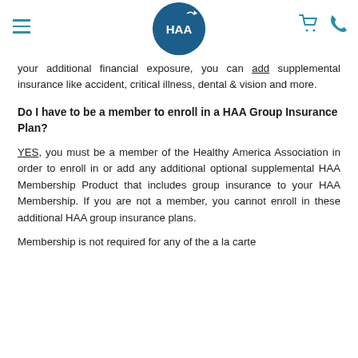HAA logo with hamburger menu, cart and phone icons
your additional financial exposure, you can add supplemental insurance like accident, critical illness, dental & vision and more.
Do I have to be a member to enroll in a HAA Group Insurance Plan?
YES, you must be a member of the Healthy America Association in order to enroll in or add any additional optional supplemental HAA Membership Product that includes group insurance to your HAA Membership. If you are not a member, you cannot enroll in these additional HAA group insurance plans.
Membership is not required for any of the a la carte